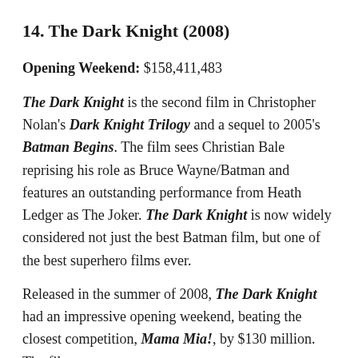14. The Dark Knight (2008)
Opening Weekend: $158,411,483
The Dark Knight is the second film in Christopher Nolan's Dark Knight Trilogy and a sequel to 2005's Batman Begins. The film sees Christian Bale reprising his role as Bruce Wayne/Batman and features an outstanding performance from Heath Ledger as The Joker. The Dark Knight is now widely considered not just the best Batman film, but one of the best superhero films ever.
Released in the summer of 2008, The Dark Knight had an impressive opening weekend, beating the closest competition, Mama Mia!, by $130 million. The film cost